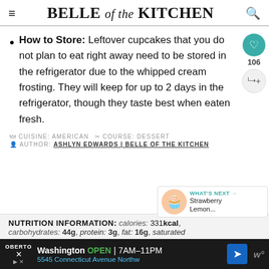BELLE of the KITCHEN
How to Store: Leftover cupcakes that you do not plan to eat right away need to be stored in the refrigerator due to the whipped cream frosting. They will keep for up to 2 days in the refrigerator, though they taste best when eaten fresh.
CUISINE: AMERICAN  COURSE: DESSERT  AUTHOR: ASHLYN EDWARDS | BELLE OF THE KITCHEN
NUTRITION INFORMATION: calories: 331kcal, carbohydrates: 44g, protein: 3g, fat: 16g, saturated
Washington  OPEN | 7AM–11PM  5545 Connecticut Avenue Northw